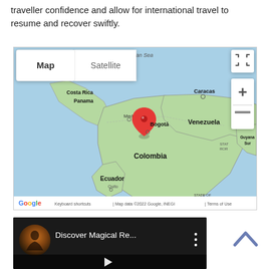traveller confidence and allow for international travel to resume and recover swiftly.
[Figure (map): Google Map showing Colombia and surrounding countries (Venezuela, Ecuador, Panama, Costa Rica, Guyana) with a red location pin near Bogotá, Colombia. Map/Satellite toggle buttons and zoom controls visible. Attribution: Map data ©2022 Google, INEGI.]
[Figure (screenshot): YouTube video thumbnail showing 'Discover Magical Re...' with a circular thumbnail image, three-dot menu icon, and partial play button bar at bottom.]